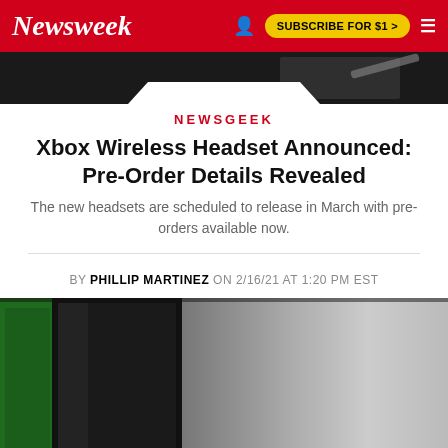Newsweek | SUBSCRIBE FOR $1 >
[Figure (photo): Dark banner image at top of article page]
NEWSGEEK
Xbox Wireless Headset Announced: Pre-Order Details Revealed
The new headsets are scheduled to release in March with pre-orders available now.
BY PHILLIP MARTINEZ ON 2/16/21 AT 1:20 PM EST
[Figure (photo): Photo of Xbox Series X console on a shelf with green Xbox box visible on the left side]